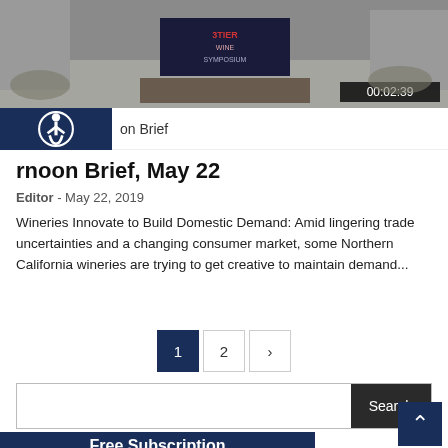[Figure (screenshot): Video thumbnail showing a conference stage with '3 Tier Wine Symposium' banner, timestamp 00:02:39 shown at bottom right]
Afternoon Brief, May 22
Editor - May 22, 2019
Wineries Innovate to Build Domestic Demand: Amid lingering trade uncertainties and a changing consumer market, some Northern California wineries are trying to get creative to maintain demand...
Pagination: 1, 2, >
Search bar
[Figure (logo): Afternoon Brief wine industry newsletter logo with envelope icon and '@' symbol, blue color scheme, with 'Free Subscription' bar]